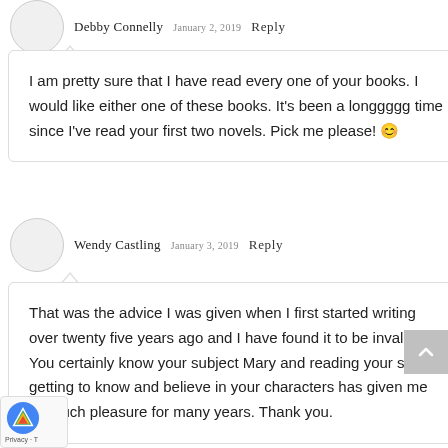Debby Connelly  January 2, 2019  Reply
I am pretty sure that I have read every one of your books. I would like either one of these books. It's been a longgggg time since I've read your first two novels. Pick me please! 😊
Wendy Castling  January 3, 2019  Reply
That was the advice I was given when I first started writing over twenty five years ago and I have found it to be invaluable. You certainly know your subject Mary and reading your stories, getting to know and believe in your characters has given me so much pleasure for many years. Thank you.